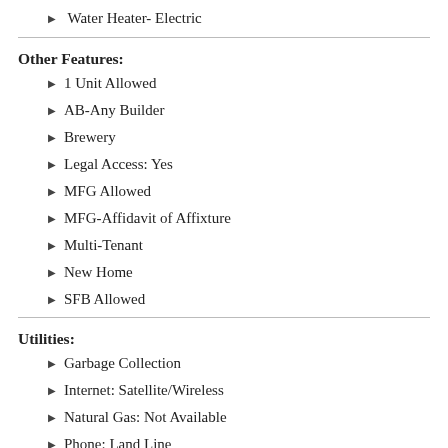Water Heater- Electric
Other Features:
1 Unit Allowed
AB-Any Builder
Brewery
Legal Access: Yes
MFG Allowed
MFG-Affidavit of Affixture
Multi-Tenant
New Home
SFB Allowed
Utilities:
Garbage Collection
Internet: Satellite/Wireless
Natural Gas: Not Available
Phone: Land Line
Power Source: City/Municipal
Power: 220 volt